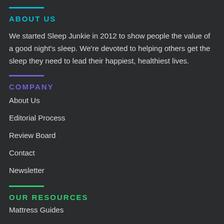ABOUT US
We started Sleep Junkie in 2012 to show people the value of a good night's sleep. We're devoted to helping others get the sleep they need to lead their happiest, healthiest lives.
COMPANY
About Us
Editorial Process
Review Board
Contact
Newsletter
OUR RESOURCES
Mattress Guides